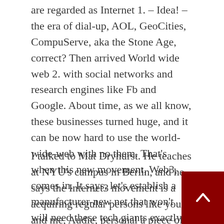are regarded as Internet 1. – Idea! – the era of dial-up, AOL, GeoCities, CompuServe, aka the Stone Age, correct? Then arrived World wide web 2. with social networks and research engines like Fb and Google. About time, as we all know, these businesses turned huge, and it can be now hard to use the world-wide-web with no them. That's when this new movement, Web3, comes in. It says, let's establish a manufacturer-new net that won't will need these tech giants exactly where, you know, new social media web pages and search engines are created that are not tracking our info.
I talked to Mat Dryhurst. He teaches at NYU's campus in Berlin, and he says the Internet3 movement is a acquiring regular persons like you and me, Audie, personal a piece of the world wide web together with the Mark Zuckerbergs of the entire world...